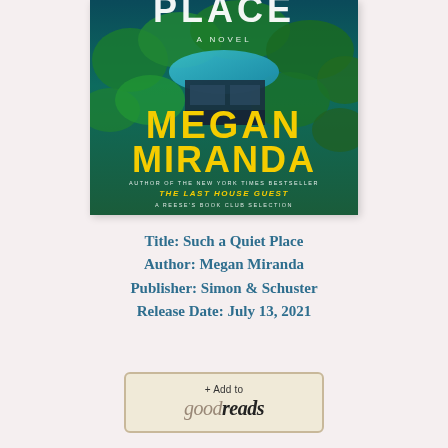[Figure (illustration): Book cover of 'Such a Quiet Place' by Megan Miranda. Aerial view of a house surrounded by green trees and a pool/river in blue. Large yellow letters spell 'MEGAN MIRANDA'. Text reads 'A NOVEL', 'AUTHOR OF THE NEW YORK TIMES BESTSELLER', 'THE LAST HOUSE GUEST', 'A REESE'S BOOK CLUB SELECTION']
Title: Such a Quiet Place
Author: Megan Miranda
Publisher: Simon & Schuster
Release Date: July 13, 2021
[Figure (logo): Goodreads button: '+ Add to goodreads' with tan/beige background and border]